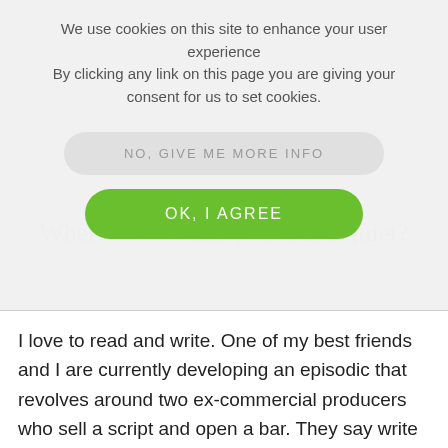We use cookies on this site to enhance your user experience
By clicking any link on this page you are giving your consent for us to set cookies.
NO, GIVE ME MORE INFO
OK, I AGREE
Where to you find peace and quiet?
I love to read and write. One of my best friends and I are currently developing an episodic that revolves around two ex-commercial producers who sell a script and open a bar. They say write about what you know, right?
Thank you